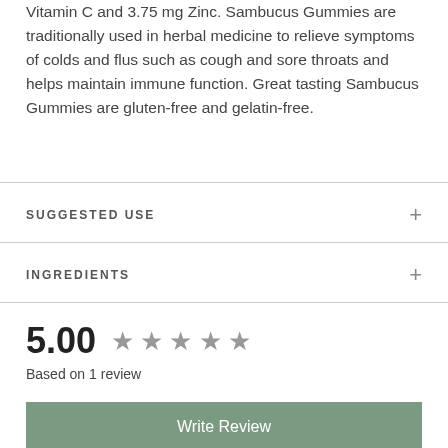Vitamin C and 3.75 mg Zinc. Sambucus Gummies are traditionally used in herbal medicine to relieve symptoms of colds and flus such as cough and sore throats and helps maintain immune function. Great tasting Sambucus Gummies are gluten-free and gelatin-free.
SUGGESTED USE
INGREDIENTS
5.00 ★★★★★
Based on 1 review
Write Review